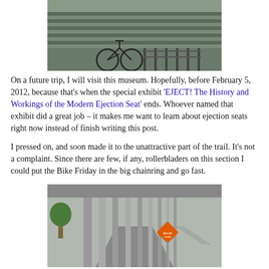[Figure (photo): A bicycle parked under a bridge or elevated structure with railing visible]
On a future trip, I will visit this museum. Hopefully, before February 5, 2012, because that's when the special exhibit 'EJECT! The History and Workings of the Modern Ejection Seat' ends. Whoever named that exhibit did a great job – it makes me want to learn about ejection seats right now instead of finish writing this post.
I pressed on, and soon made it to the unattractive part of the trail. It's not a complaint. Since there are few, if any, rollerbladers on this section I could put the Bike Friday in the big chainring and go fast.
[Figure (photo): A path or trail under an elevated structure with support columns and a diamond-shaped orange warning sign visible]